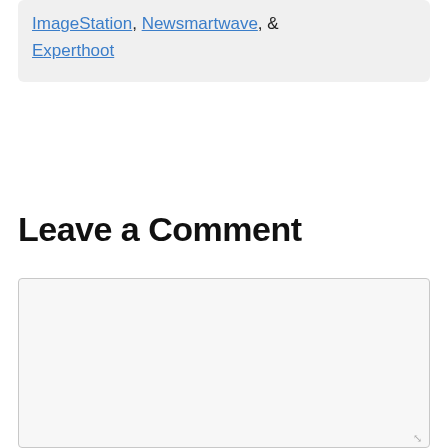ImageStation, Newsmartwave, & Experthoot
Leave a Comment
[Figure (other): Empty comment text area input box with light grey background and border]